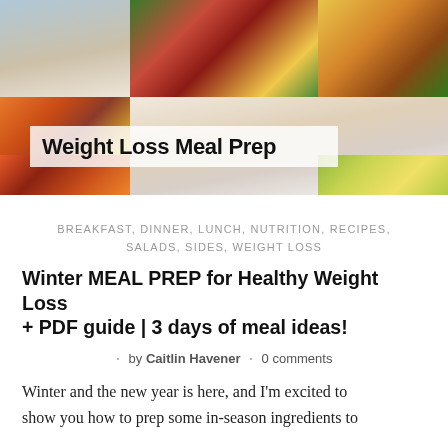[Figure (photo): Collage banner image showing food photos (colorful salads, egg cups, wraps, soups, grain dishes) with a smiling blonde woman in a white apron in the center. Overlay text reads 'Weight Loss Meal Prep'.]
BREAKFAST, DINNER, LUNCH, NUTRITION, RECIPES, SALADS, SIDES, WEIGHT LOSS
Winter MEAL PREP for Healthy Weight Loss + PDF guide | 3 days of meal ideas!
· by Caitlin Havener · 0 comments
Winter and the new year is here, and I'm excited to show you how to prep some in-season ingredients to